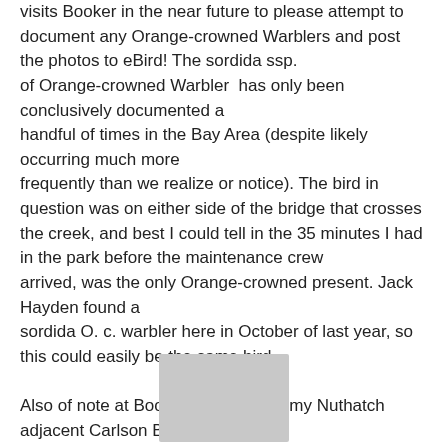visits Booker in the near future to please attempt to document any Orange-crowned Warblers and post the photos to eBird! The sordida ssp. of Orange-crowned Warbler has only been conclusively documented a handful of times in the Bay Area (despite likely occurring much more frequently than we realize or notice). The bird in question was on either side of the bridge that crosses the creek, and best I could tell in the 35 minutes I had in the park before the maintenance crew arrived, was the only Orange-crowned present. Jack Hayden found a sordida O. c. warbler here in October of last year, so this could easily be the same bird.

Also of note at Booker was one Pygmy Nuthatch adjacent Carlson Blvd. (rare but increasing in the flat part of Richmond) and this morning at
[Figure (other): Gray rectangle/button element at bottom center of page]